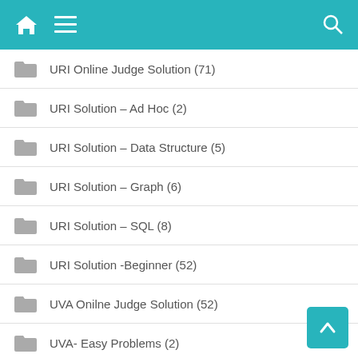Navigation header with home, menu, and search icons
URI Online Judge Solution (71)
URI Solution – Ad Hoc (2)
URI Solution – Data Structure (5)
URI Solution – Graph (6)
URI Solution – SQL (8)
URI Solution -Beginner (52)
UVA Onilne Judge Solution (52)
UVA- Easy Problems (2)
UVA-Volume 4 (42)
UVA-Volume 5 (9)
Web Design (16)